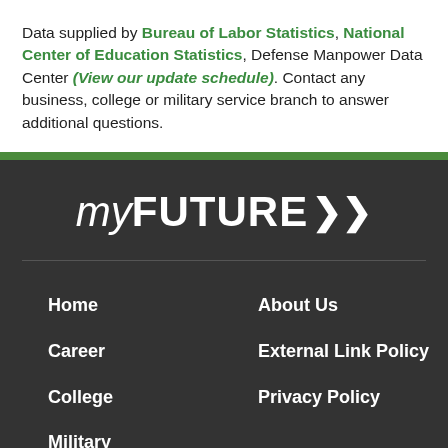Data supplied by Bureau of Labor Statistics, National Center of Education Statistics, Defense Manpower Data Center (View our update schedule). Contact any business, college or military service branch to answer additional questions.
[Figure (logo): myFUTURE logo with double arrow in white on dark background]
Home
Career
College
Military
About Us
External Link Policy
Privacy Policy